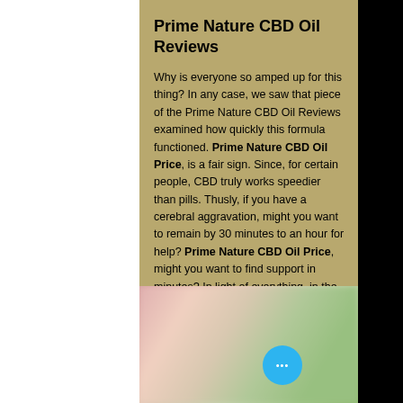Prime Nature CBD Oil Reviews
Why is everyone so amped up for this thing? In any case, we saw that piece of the Prime Nature CBD Oil Reviews examined how quickly this formula functioned. Prime Nature CBD Oil Price, is a fair sign. Since, for certain people, CBD truly works speedier than pills. Thusly, if you have a cerebral aggravation, might you want to remain by 30 minutes to an hour for help? Prime Nature CBD Oil Price, might you want to find support in minutes? In light of everything, in the event that you're like a large number individuals, you want assistance as speedy as could truly be anticipated.
[Figure (photo): A blurred image appearing to show a person with CBD oil product packaging, with a blue circular button with three dots overlay in the bottom right corner.]